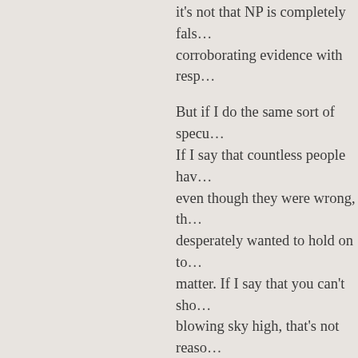it's not that NP is completely false… corroborating evidence with resp…
But if I do the same sort of specu… If I say that countless people hav… even though they were wrong, th… desperately wanted to hold on to… matter. If I say that you can't sho… blowing sky high, that's not reaso… behave. Only you can use this ap…
By the way, most of your argume… Persecuted witnesses; can't rule… happened before; only one case… abundance of new religions popp…
I think that you're on to somethin… make him a more likely far more… does do is make it far more likely… supernaturally resurrected than "… It's not at all a surprise that Chris… ripe for this, just as the historical… movements like the American rev…
You know, you're free to introduc… historical analysis completely nei…